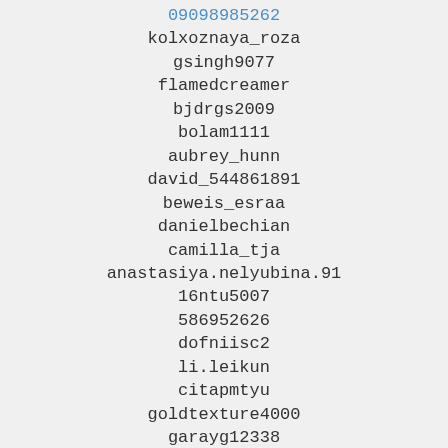09098985262
kolxoznaya_roza
gsingh9077
flamedcreamer
bjdrgs2009
bolam1111
aubrey_hunn
david_544861891
beweis_esraa
danielbechian
camilla_tja
anastasiya.nelyubina.91
16ntu5007
586952626
dofniisc2
li.leikun
citapmtyu
goldtexture4000
garayg12338
gg.marco
aapjordan
alex007dude
jpowell1892
heatherbrewer3461